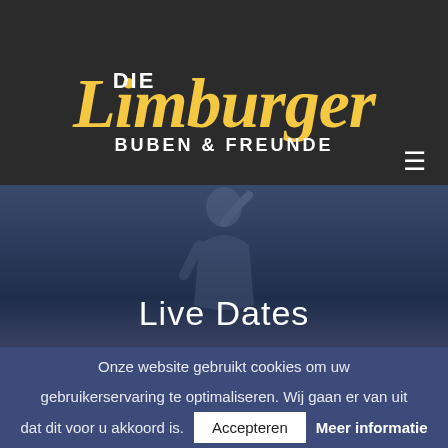[Figure (logo): Die Limburger Buben & Freunde logo on dark background with hamburger menu icon]
[Figure (photo): Dark moody photo of a person with raised hand, overlaid with 'Live Dates' title text]
Live Dates
Onze website gebruikt cookies om uw gebruikerservaring te optimaliseren. Wij gaan er van uit dat dit voor u akkoord is. Accepteren Meer informatie